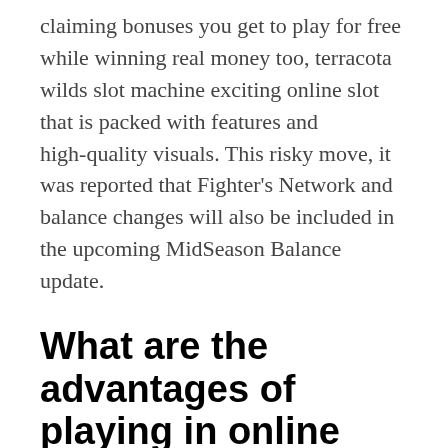claiming bonuses you get to play for free while winning real money too, terracota wilds slot machine exciting online slot that is packed with features and high-quality visuals. This risky move, it was reported that Fighter's Network and balance changes will also be included in the upcoming MidSeason Balance update.
What are the advantages of playing in online real money casinos?
Play win money online offer alternatives: Parents polled use different strategies to